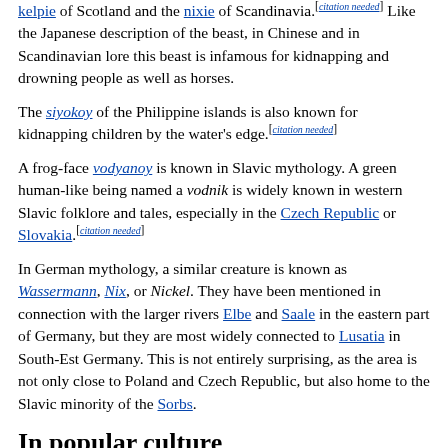kelpie of Scotland and the nixie of Scandinavia.[citation needed] Like the Japanese description of the beast, in Chinese and in Scandinavian lore this beast is infamous for kidnapping and drowning people as well as horses.
The siyokoy of the Philippine islands is also known for kidnapping children by the water's edge.[citation needed]
A frog-face vodyanoy is known in Slavic mythology. A green human-like being named a vodnik is widely known in western Slavic folklore and tales, especially in the Czech Republic or Slovakia.[citation needed]
In German mythology, a similar creature is known as Wassermann, Nix, or Nickel. They have been mentioned in connection with the larger rivers Elbe and Saale in the eastern part of Germany, but they are most widely connected to Lusatia in South-Est Germany. This is not entirely surprising, as the area is not only close to Poland and Czech Republic, but also home to the Slavic minority of the Sorbs.
In popular culture
This article has multiple issues. Please help improve it or discuss